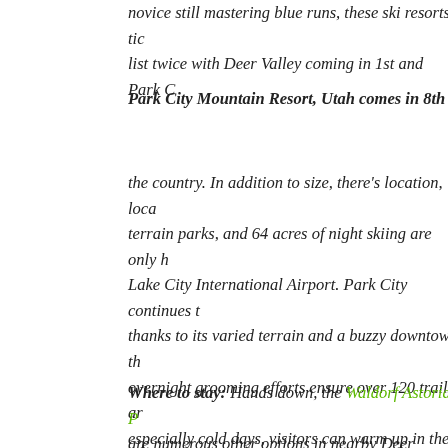novice still mastering blue runs, these ski resorts tic list twice with Deer Valley coming in 1st and Park C
Park City Mountain Resort, Utah comes in 8th - the country. In addition to size, there's location, loca terrain parks, and 64 acres of night skiing are only h Lake City International Airport. Park City continues thanks to its varied terrain and a buzzy downtown th overnight grooming efforts ensure over 120 trails ar especially cold days, visitors can warm up in the Or heated chairlift at Canyons.
Where to stay: Hands down, the Waldorf Astoria P are numerous other options in nearby Deer Valley.